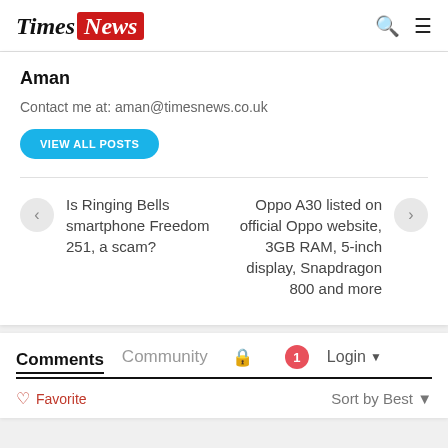Times News
Aman
Contact me at: aman@timesnews.co.uk
VIEW ALL POSTS
Is Ringing Bells smartphone Freedom 251, a scam?
Oppo A30 listed on official Oppo website, 3GB RAM, 5-inch display, Snapdragon 800 and more
Comments
Community
Login
Favorite
Sort by Best